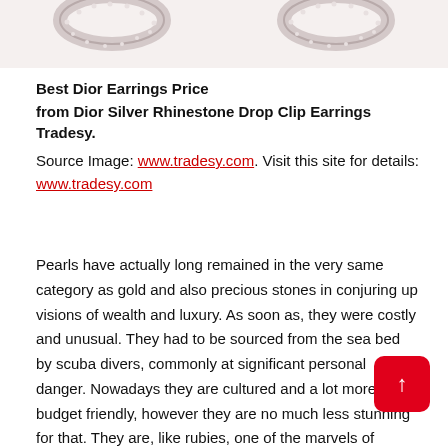[Figure (photo): Two silver rhinestone drop clip earrings partially visible at the top of the page, cropped to show only the upper portions.]
Best Dior Earrings Price
from Dior Silver Rhinestone Drop Clip Earrings Tradesy. Source Image: www.tradesy.com. Visit this site for details: www.tradesy.com
Pearls have actually long remained in the very same category as gold and also precious stones in conjuring up visions of wealth and luxury. As soon as, they were costly and unusual. They had to be sourced from the sea bed by scuba divers, commonly at significant personal danger. Nowadays they are cultured and a lot more budget friendly, however they are no much less stunning for that. They are, like rubies, one of the marvels of nature.